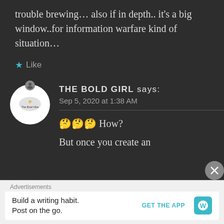trouble brewing… also if in depth.. it's a big window..for information warfare kind of situation…
★ Like
THE BOLD GIRL says: Sep 5, 2020 at 1:38 AM
🤔🤔🤔 How?
But once you create an
Advertisements
Build a writing habit. Post on the go.
GET THE APP